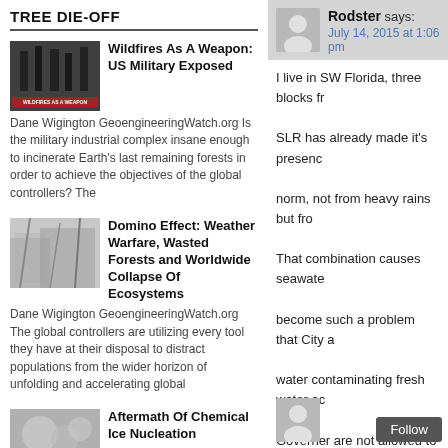TREE DIE-OFF
Wildfires As A Weapon: US Military Exposed — Dane Wigington GeoengineeringWatch.org Is the military industrial complex insane enough to incinerate Earth's last remaining forests in order to achieve the objectives of the global controllers? The
Domino Effect: Weather Warfare, Wasted Forests and Worldwide Collapse Of Ecosystems — Dane Wigington GeoengineeringWatch.org The global controllers are utilizing every tool they have at their disposal to distract populations from the wider horizon of unfolding and accelerating global
Aftermath Of Chemical Ice Nucleation — Dane Wigington GeoengineeringWatch.org
Rodster says: July 14, 2015 at 1:06 pm
I live in SW Florida, three blocks fr... SLR has already made it's presenc... norm, not from heavy rains but fro... That combination causes seawate... become such a problem that City a... water contaminating fresh water ac... Governer are not allowed to use th... Change".
http://www.theguardian.com/world/ deniers-sea-levels-rising
http://www.rsmas.miami.edu/blog/2